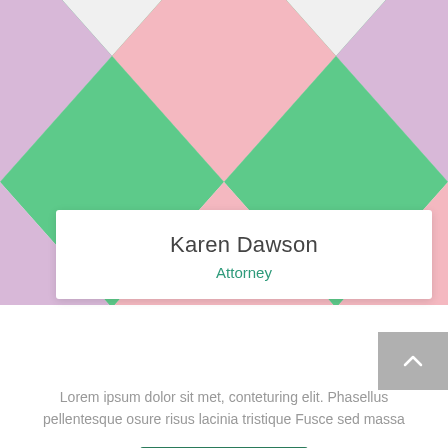[Figure (illustration): Harlequin/diamond pattern background in green, pink/rose, and lavender colors arranged in a diagonal tile pattern filling the top portion of the page.]
Karen Dawson
Attorney
Lorem ipsum dolor sit met, conteturing elit. Phasellus pellentesque osure risus lacinia tristique Fusce sed massa
Profile
[Figure (illustration): Triangular pattern strip at the bottom in golden yellow, light blue/teal, and white triangles.]